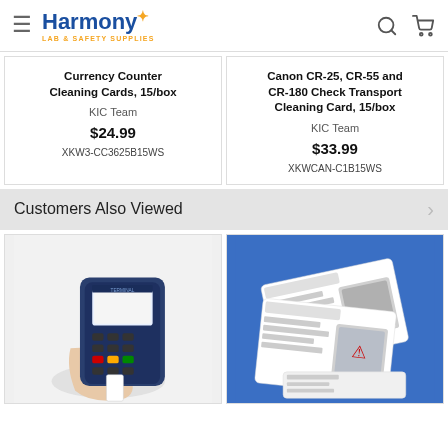Harmony LAB & SAFETY SUPPLIES
Currency Counter Cleaning Cards, 15/box
KIC Team
$24.99
XKW3-CC3625B15WS
Canon CR-25, CR-55 and CR-180 Check Transport Cleaning Card, 15/box
KIC Team
$33.99
XKWCAN-C1B15WS
Customers Also Viewed
[Figure (photo): A hand holding a blue credit card terminal/payment device (Verifone) with a white card or receipt coming out of it, photographed against a white background.]
[Figure (photo): Card reader cleaning cards displayed on a blue background, showing packaged cleaning card products with instruction labels.]